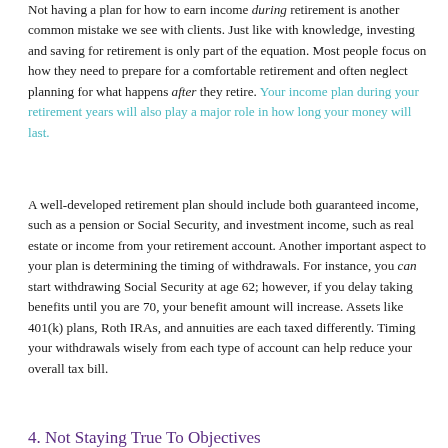Not having a plan for how to earn income during retirement is another common mistake we see with clients. Just like with knowledge, investing and saving for retirement is only part of the equation. Most people focus on how they need to prepare for a comfortable retirement and often neglect planning for what happens after they retire. Your income plan during your retirement years will also play a major role in how long your money will last.
A well-developed retirement plan should include both guaranteed income, such as a pension or Social Security, and investment income, such as real estate or income from your retirement account. Another important aspect to your plan is determining the timing of withdrawals. For instance, you can start withdrawing Social Security at age 62; however, if you delay taking benefits until you are 70, your benefit amount will increase. Assets like 401(k) plans, Roth IRAs, and annuities are each taxed differently. Timing your withdrawals wisely from each type of account can help reduce your overall tax bill.
4. Not Staying True To Objectives